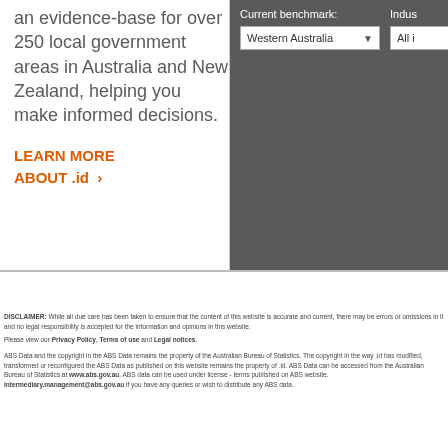an evidence-base for over 250 local government areas in Australia and New Zealand, helping you make informed decisions.
LEARN MORE ABOUT .id ›
Current benchmark: Western Australia ▾
Indus... All i...
DISCLAIMER: While all due care has been taken to ensure that the content of this website is accurate and current, there may be errors or omissions in it and no legal responsibility is accepted for the information and opinions in this website.
Please view our Privacy Policy, Terms of use and Legal notices.
ABS Data and the copyright in the ABS Data remains the property of the Australian Bureau of Statistics. The copyright in the way .id has modified, transformed or reconfigured the ABS Data as published on this website remains the property of .id. ABS Data can be accessed from the Australian Bureau of Statistics at www.abs.gov.au. ABS data can be used under license - terms published on ABS website. intermediary.management@abs.gov.au if you have any queries or wish to distribute any ABS data.